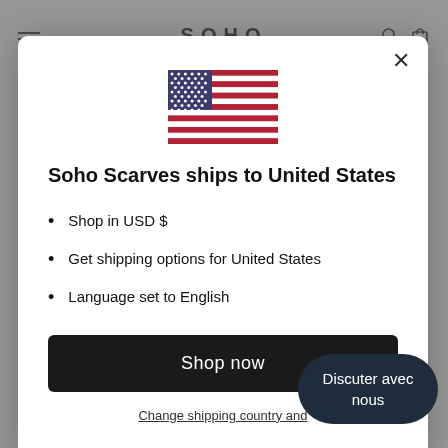SOHO
[Figure (illustration): US flag SVG illustration centered in modal]
Soho Scarves ships to United States
Shop in USD $
Get shipping options for United States
Language set to English
Shop now
Change shipping country and
Discuter avec nous
Politique de confidentialité